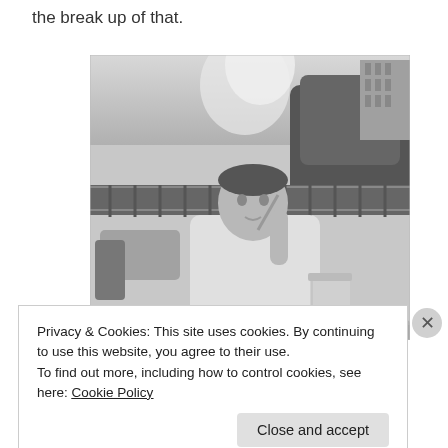the break up of that.
[Figure (photo): Black and white photograph of a man sitting outdoors at a table, wearing a white t-shirt with a graphic print, holding a straw to his mouth with a large cup on the table in front of him. Trees and buildings are visible in the background.]
Privacy & Cookies: This site uses cookies. By continuing to use this website, you agree to their use.
To find out more, including how to control cookies, see here: Cookie Policy
Close and accept